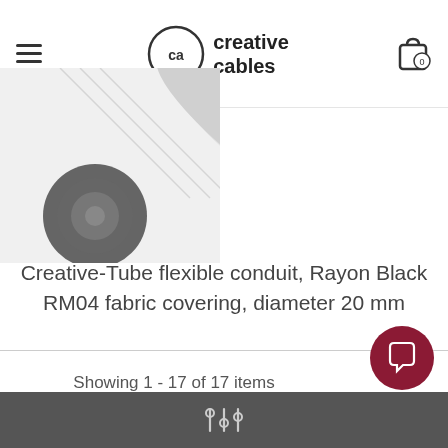creative cables
[Figure (photo): Product image of Creative-Tube flexible conduit with Rayon Black RM04 fabric covering, partially visible at top left]
Creative-Tube flexible conduit, Rayon Black RM04 fabric covering, diameter 20 mm
$2.60
Showing 1 - 17 of 17 items